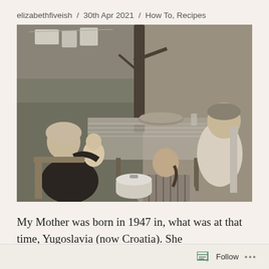elizabethfiveish  /  30th Apr 2021  /  How To, Recipes
[Figure (photo): Black and white vintage photograph of a family seated outdoors at a table. A woman holds a baby on the left, a girl in a patterned dress sits with her back to the camera in the center-right, and a man sits on the right. Laundry hangs in the background.]
My Mother was born in 1947 in, what was at that time, Yugoslavia (now Croatia).  She
Follow  ...